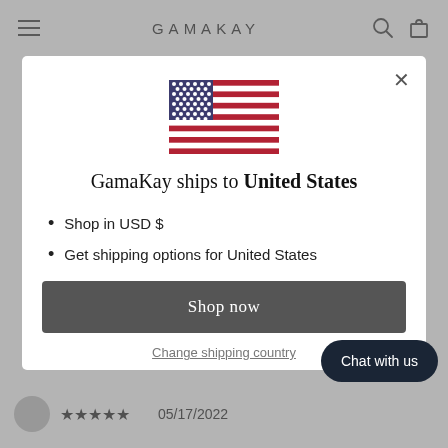GAMAKAY
[Figure (illustration): US flag SVG illustration shown inside modal dialog]
GamaKay ships to United States
Shop in USD $
Get shipping options for United States
Shop now
Change shipping country
Chat with us
05/17/2022